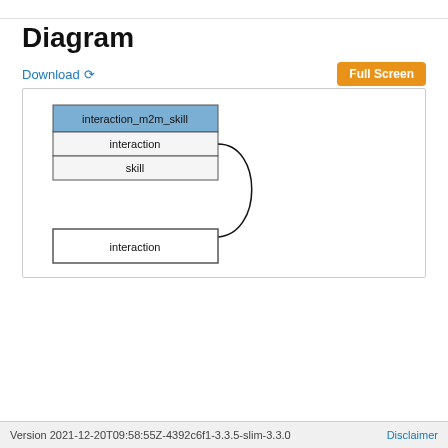Diagram
Download  Full Screen
[Figure (engineering-diagram): Entity-relationship style diagram showing a table 'interaction_m2m_skill' with blue header and two fields: 'interaction' and 'skill'. An arrow points downward from the table to a separate box labeled 'interaction'.]
Version 2021-12-20T09:58:55Z-4392c6f1-3.3.5-slim-3.3.0   Disclaimer